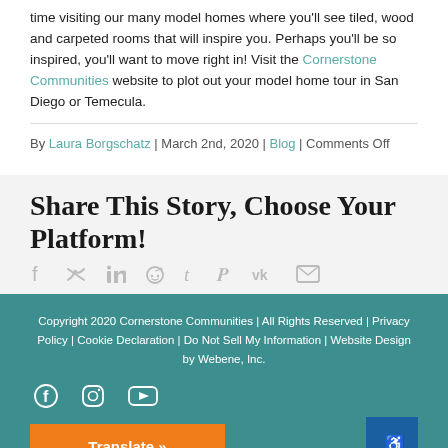time visiting our many model homes where you'll see tiled, wood and carpeted rooms that will inspire you. Perhaps you'll be so inspired, you'll want to move right in! Visit the Cornerstone Communities website to plot out your model home tour in San Diego or Temecula.
By Laura Borgschatz | March 2nd, 2020 | Blog | Comments Off
Share This Story, Choose Your Platform!
Copyright 2020 Cornerstone Communities | All Rights Reserved | Privacy Policy | Cookie Declaration | Do Not Sell My Information | Website Design by Webene, Inc.